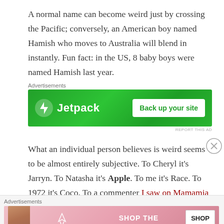A normal name can become weird just by crossing the Pacific; conversely, an American boy named Hamish who moves to Australia will blend in instantly. Fun fact: in the US, 8 baby boys were named Hamish last year.
[Figure (other): Jetpack advertisement banner — green background with Jetpack logo and 'Back up your site' button]
What an individual person believes is weird seems to be almost entirely subjective. To Cheryl it's Jarryn. To Natasha it's Apple. To me it's Race. To 1972 it's Coco. To a commenter I saw on Mamamia it's Felix (in the Top 100). To this journalist it's Becket. To my
[Figure (other): Victoria's Secret advertisement banner — pink background with model, VS logo, 'SHOP THE COLLECTION' text and 'SHOP NOW' button]